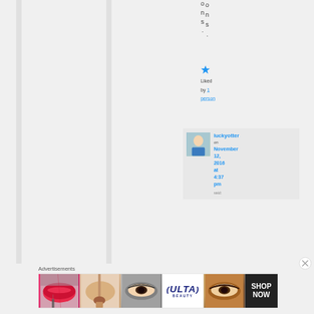o
n
s
.
[Figure (other): Blue star icon for liking]
Liked by 1 person
luckyotter on November 12, 2016 at 4:37 pm said:
[Figure (photo): Avatar thumbnail of luckyotter - woman in blue outdoors]
Advertisements
[Figure (photo): ULTA beauty advertisement banner with makeup images and SHOP NOW button]